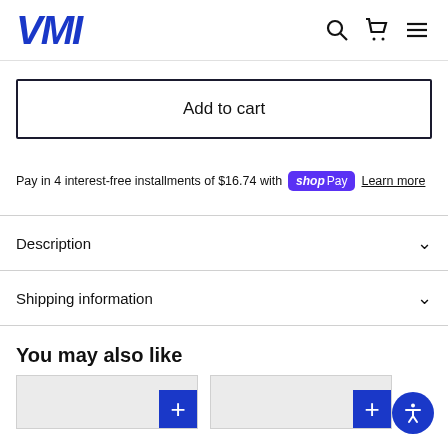VMI
Add to cart
Pay in 4 interest-free installments of $16.74 with Shop Pay  Learn more
Description
Shipping information
You may also like